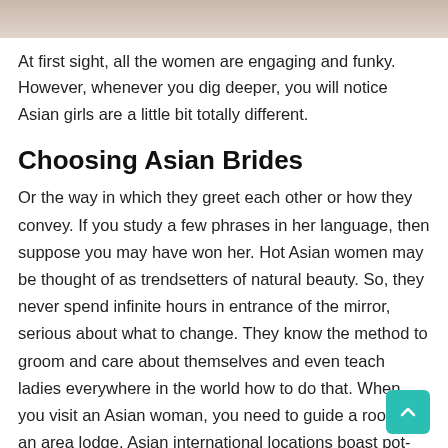[Figure (photo): Top portion of a photo showing a woman, cropped at the top of the page]
At first sight, all the women are engaging and funky. However, whenever you dig deeper, you will notice Asian girls are a little bit totally different.
Choosing Asian Brides
Or the way in which they greet each other or how they convey. If you study a few phrases in her language, then suppose you may have won her. Hot Asian women may be thought of as trendsetters of natural beauty. So, they never spend infinite hours in entrance of the mirror, serious about what to change. They know the method to groom and care about themselves and even teach ladies everywhere in the world how to do that. When you visit an Asian woman, you need to guide a room in an area lodge. Asian international locations boast pot-rated and high-quality resorts with a excessive price, however there are many low-cost variants with a worth of $100 per evening.